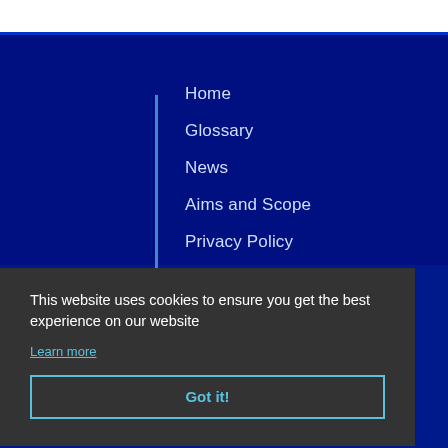Home
Glossary
News
Aims and Scope
Privacy Policy
Sitemap
This website uses cookies to ensure you get the best experience on our website
Learn more
Got it!